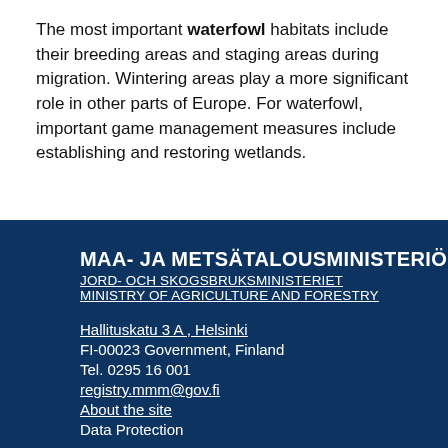The most important waterfowl habitats include their breeding areas and staging areas during migration. Wintering areas play a more significant role in other parts of Europe. For waterfowl, important game management measures include establishing and restoring wetlands.
MAA- JA METSÄTALOUSMINISTERIÖ
JORD- OCH SKOGSBRUKSMINISTERIET
MINISTRY OF AGRICULTURE AND FORESTRY

Hallituskatu 3 A , Helsinki
FI-00023 Government, Finland
Tel. 0295 16 001
registry.mmm@gov.fi
About the site
Data Protection